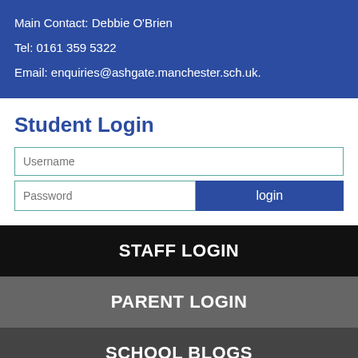Main Contact: Debbie O'Brien
Tel: 0161 359 5322
Email: enquiries@ashgate.manchester.sch.uk.
Student Login
Username
Password
login
STAFF LOGIN
PARENT LOGIN
SCHOOL BLOGS
© Ashgate Specialist Support School. All Rights Reserved. Website and VLE by